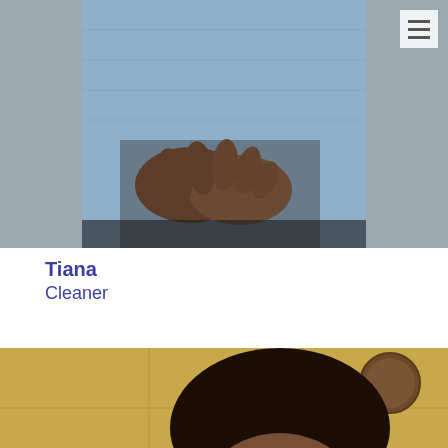[Figure (photo): Close-up photo of a person wearing a light blue denim shirt with hands clasped, partial torso view against a wooden background]
Tiana
Cleaner
[Figure (photo): Close-up selfie of a person with curly dark hair in a kitchen with yellow tiles, dishes, a kettle, and kitchen items in background]